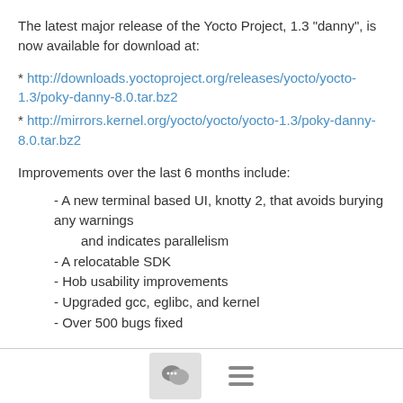The latest major release of the Yocto Project, 1.3 "danny", is now available for download at:
* http://downloads.yoctoproject.org/releases/yocto/yocto-1.3/poky-danny-8.0.tar.bz2
* http://mirrors.kernel.org/yocto/yocto/yocto-1.3/poky-danny-8.0.tar.bz2
Improvements over the last 6 months include:
- A new terminal based UI, knotty 2, that avoids burying any warnings and indicates parallelism
- A relocatable SDK
- Hob usability improvements
- Upgraded gcc, eglibc, and kernel
- Over 500 bugs fixed